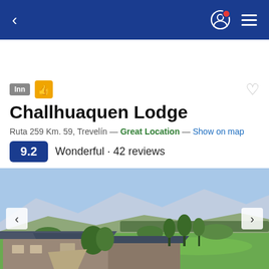Navigation bar with back arrow, user icon, and menu
Coronavirus (COVID-19) support
Challhuaquen Lodge
Ruta 259 Km. 59, Trevelín — Great Location — Show on map
9.2 Wonderful · 42 reviews
[Figure (photo): Aerial view of Challhuaquen Lodge with green fields, trees, and mountain backdrop]